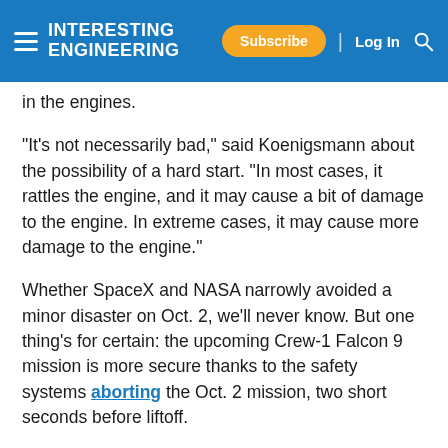Interesting Engineering — Subscribe | Log In
in the engines.
"It's not necessarily bad," said Koenigsmann about the possibility of a hard start. "In most cases, it rattles the engine, and it may cause a bit of damage to the engine. In extreme cases, it may cause more damage to the engine."
Whether SpaceX and NASA narrowly avoided a minor disaster on Oct. 2, we'll never know. But one thing's for certain: the upcoming Crew-1 Falcon 9 mission is more secure thanks to the safety systems aborting the Oct. 2 mission, two short seconds before liftoff.
[Figure (other): Gray advertisement placeholder box at the bottom of the article page]